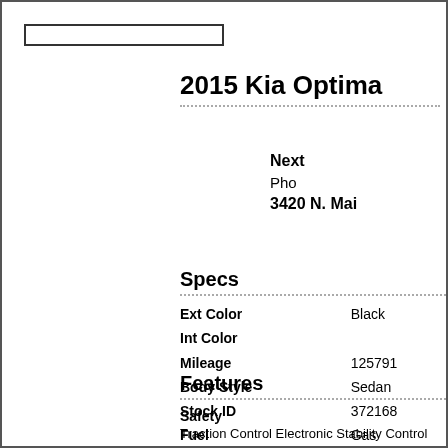[Figure (other): Empty rectangular logo/image placeholder bar in top left]
2015 Kia Optima
Next
Pho
3420 N. Mai
Specs
| Label | Value |
| --- | --- |
| Ext Color | Black |
| Int Color |  |
| Mileage | 125791 |
| Body Style | Sedan |
| Stock ID | 372168 |
| Fuel | Gas |
Features
Safety
Traction Control Electronic Stability Control
Saf